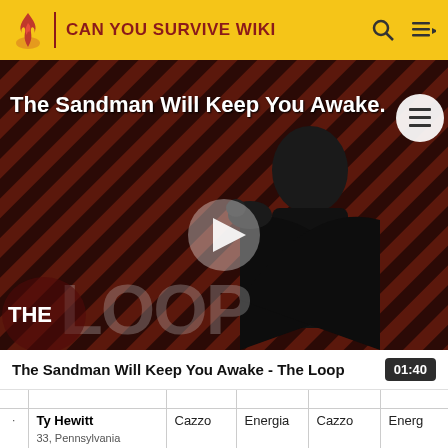CAN YOU SURVIVE WIKI
[Figure (screenshot): Video thumbnail for 'The Sandman Will Keep You Awake - The Loop' showing a dark figure holding a raven against a diagonal striped red/brown background, with THE LOOP watermark and a play button overlay.]
The Sandman Will Keep You Awake - The Loop  01:40
|  | Name | Col1 | Col2 | Col3 | Col4 |
| --- | --- | --- | --- | --- | --- |
|  |  |  |  |  |  |
|  | Ty Hewitt
33, Pennsylvania | Cazzo | Energia | Cazzo | Energ |